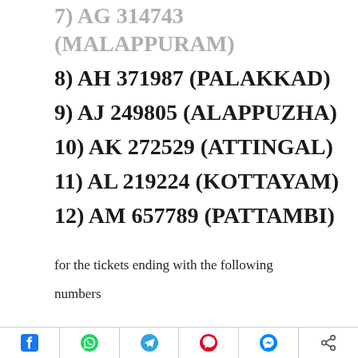8) AH 371987 (PALAKKAD)
9) AJ 249805 (ALAPPUZHA)
10) AK 272529 (ATTINGAL)
11) AL 219224 (KOTTAYAM)
12) AM 657789 (PATTAMBI)
for the tickets ending with the following numbers